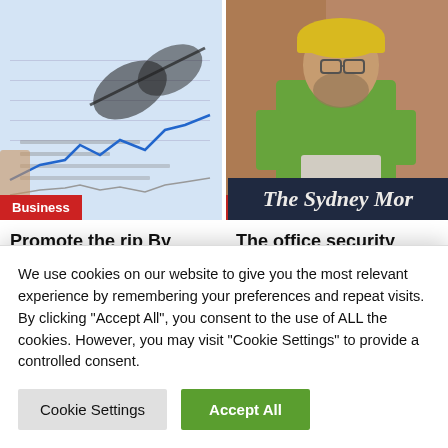[Figure (photo): Financial chart with line graph, glasses and papers, with red 'Business' badge overlay]
Promote the rip By Reuters
[Figure (photo): Construction worker in yellow hard hat and green safety vest, with red 'Lifestyle' badge and The Sydney Morning Herald newspaper logo overlay]
The office security challenge going through
We use cookies on our website to give you the most relevant experience by remembering your preferences and repeat visits. By clicking "Accept All", you consent to the use of ALL the cookies. However, you may visit "Cookie Settings" to provide a controlled consent.